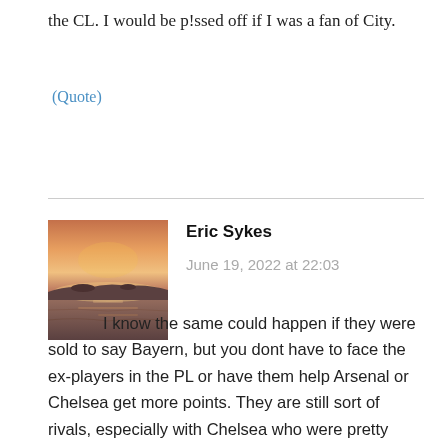the CL. I would be p!ssed off if I was a fan of City.
(Quote)
Eric Sykes
June 19, 2022 at 22:03
[Figure (photo): Avatar photo of Eric Sykes showing a sunset over water with a purple-orange sky and reflections on the water.]
I know the same could happen if they were sold to say Bayern, but you dont have to face the ex-players in the PL or have them help Arsenal or Chelsea get more points. They are still sort of rivals, especially with Chelsea who were pretty close to City and Liverpool in the 1st half of last season.